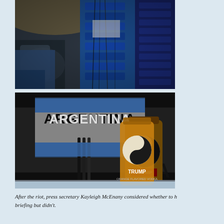[Figure (photo): Interior of an aircraft or vehicle showing equipment racks with blue machinery, cables, and media equipment. A chair and blue fabric are visible in the foreground.]
[Figure (photo): A shelf or display showing a bottle labeled 'TRUMP orange flavored vodka' with a yin-yang symbol, in front of an 'ARGENTINA' sign, alongside a 'GOAT BALLS made in Hawaii' novelty package.]
After the riot, press secretary Kayleigh McEnany considered whether to hold a briefing but didn't.